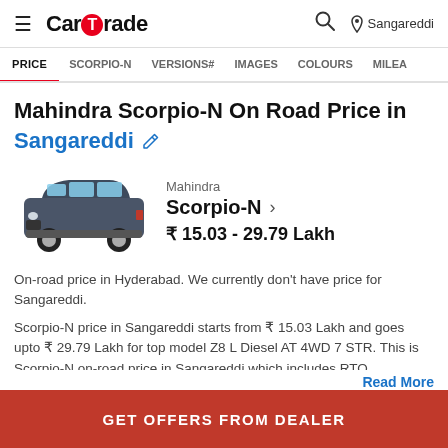CarTrade — Sangareddi
PRICE  SCORPIO-N  VERSIONS#  IMAGES  COLOURS  MILEA
Mahindra Scorpio-N On Road Price in Sangareddi
[Figure (photo): Mahindra Scorpio-N SUV front-side view in dark grey color]
Mahindra Scorpio-N > ₹ 15.03 - 29.79 Lakh
On-road price in Hyderabad. We currently don't have price for Sangareddi.
Scorpio-N price in Sangareddi starts from ₹ 15.03 Lakh and goes upto ₹ 29.79 Lakh for top model Z8 L Diesel AT 4WD 7 STR. This is Scorpio-N on-road price in Sangareddi which includes RTO...
Read More
GET OFFERS FROM DEALER